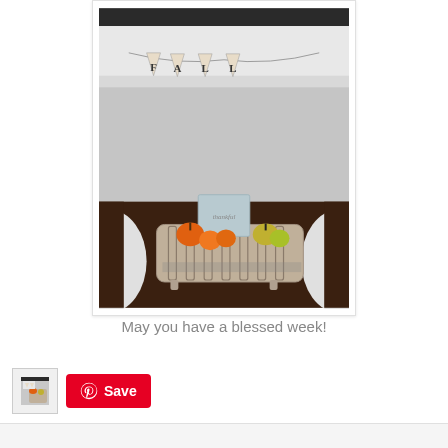[Figure (photo): A fall-themed home decor photo showing a white wire basket on a dark wood table containing small orange and yellow-green pumpkins/gourds and a 'thankful' sign. A burlap 'FALL' letter banner is strung in the background on a white fireplace mantel. Two white chairs are partially visible on either side.]
May you have a blessed week!
[Figure (photo): Small thumbnail of the fall decor photo]